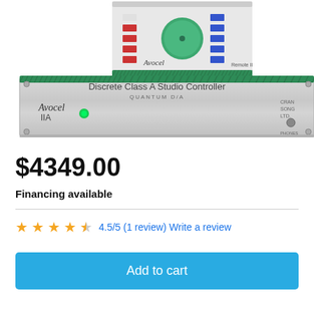[Figure (photo): Avocel IIA Discrete Class A Studio Controller rack unit with green knob and remote controller on top, shown from front. Text reads 'Discrete Class A Studio Controller QUANTUM D/A' and 'Avocel IIA'.]
$4349.00
Financing available
4.5/5 (1 review) Write a review
Add to cart